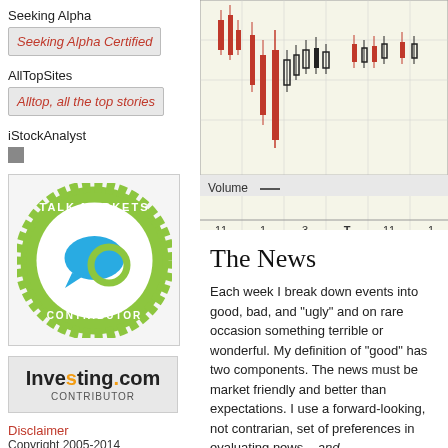Seeking Alpha
[Figure (logo): Seeking Alpha Certified badge image placeholder]
AllTopSites
[Figure (logo): Alltop, all the top stories image placeholder]
iStockAnalyst
[Figure (logo): Small gray square icon for iStockAnalyst]
[Figure (logo): Talk Markets Contributor circular badge logo with green and blue design]
[Figure (logo): Investing.com Contributor badge]
Disclaimer
Copyright 2005-2014
[Figure (continuous-plot): Stock candlestick chart showing price action with red/black candles on cream background, with Volume section below and x-axis labels: 11, 1, 3, T, 11, 1]
The News
Each week I break down events into good, bad, and "ugly" and on rare occasion something terrible or wonderful. My definition of "good" has two components. The news must be market friendly and better than expectations. I use a forward-looking, not contrarian, set of expectations in evaluating news – and
This week's news was neutral.
The Good